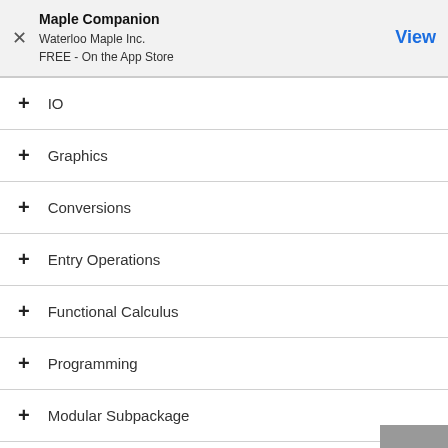Maple Companion
Waterloo Maple Inc.
FREE - On the App Store
IO
Graphics
Conversions
Entry Operations
Functional Calculus
Programming
Modular Subpackage
Constructors
Eigenvalues